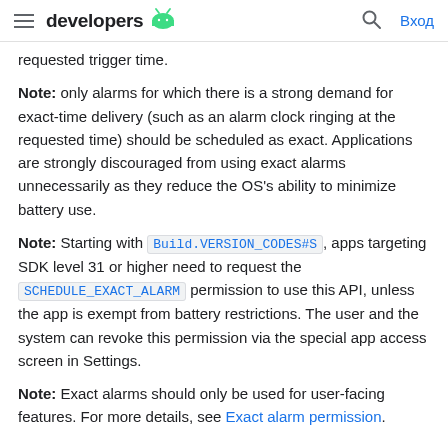developers | Вход
requested trigger time.
Note: only alarms for which there is a strong demand for exact-time delivery (such as an alarm clock ringing at the requested time) should be scheduled as exact. Applications are strongly discouraged from using exact alarms unnecessarily as they reduce the OS's ability to minimize battery use.
Note: Starting with Build.VERSION_CODES#S, apps targeting SDK level 31 or higher need to request the SCHEDULE_EXACT_ALARM permission to use this API, unless the app is exempt from battery restrictions. The user and the system can revoke this permission via the special app access screen in Settings.
Note: Exact alarms should only be used for user-facing features. For more details, see Exact alarm permission.